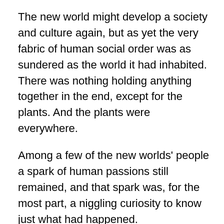The new world might develop a society and culture again, but as yet the very fabric of human social order was as sundered as the world it had inhabited. There was nothing holding anything together in the end, except for the plants. And the plants were everywhere.
Among a few of the new worlds' people a spark of human passions still remained, and that spark was, for the most part, a niggling curiosity to know just what had happened.
Maria held that spark somewhere in her heart and it tugged and pulled on her until at last she followed it's pull, upwards into the light.
Maria had been dead for quite some time, before things fell apart. She remembered her death after a fashion. It was a warm fuzzy sort of memory more full of feeling,